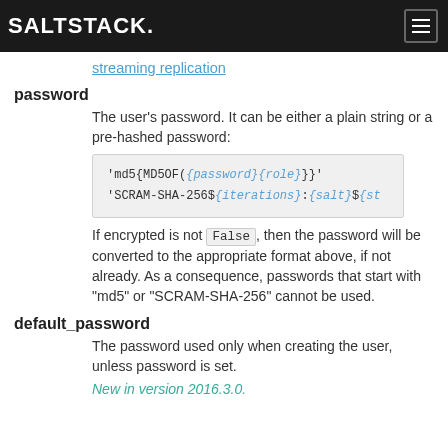SALTSTACK
streaming replication
password
The user's password. It can be either a plain string or a pre-hashed password:
'md5{MD5OF({password}{role})'
'SCRAM-SHA-256${iterations}:{salt}${st
If encrypted is not False, then the password will be converted to the appropriate format above, if not already. As a consequence, passwords that start with "md5" or "SCRAM-SHA-256" cannot be used.
default_password
The password used only when creating the user, unless password is set.
New in version 2016.3.0.